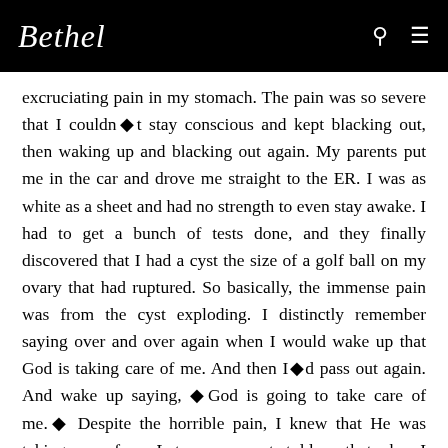Bethel
excruciating pain in my stomach. The pain was so severe that I couldn◎t stay conscious and kept blacking out, then waking up and blacking out again. My parents put me in the car and drove me straight to the ER. I was as white as a sheet and had no strength to even stay awake. I had to get a bunch of tests done, and they finally discovered that I had a cyst the size of a golf ball on my ovary that had ruptured. So basically, the immense pain was from the cyst exploding. I distinctly remember saying over and over again when I would wake up that God is taking care of me. And then I◎d pass out again. And wake up saying, ◎God is going to take care of me.◎ Despite the horrible pain, I knew that He was taking care of me. Later, my parents told me that when I was in and out of consciousness, I was shouting in tongues. The Lord was really with me the whole time. The doctors sent